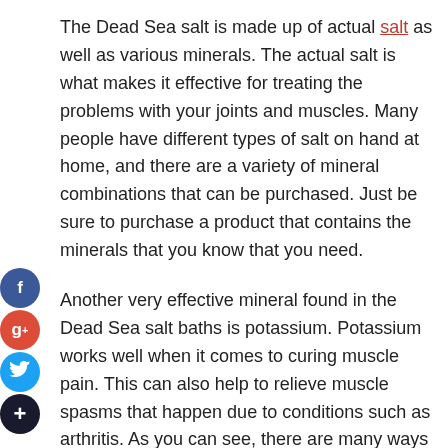The Dead Sea salt is made up of actual salt as well as various minerals. The actual salt is what makes it effective for treating the problems with your joints and muscles. Many people have different types of salt on hand at home, and there are a variety of mineral combinations that can be purchased. Just be sure to purchase a product that contains the minerals that you know that you need.
Another very effective mineral found in the Dead Sea salt baths is potassium. Potassium works well when it comes to curing muscle pain. This can also help to relieve muscle spasms that happen due to conditions such as arthritis. As you can see, there are many ways that a Dead Sea salt bath can actually benefit your overall health.
When using the Dead Sea salt bath, you should